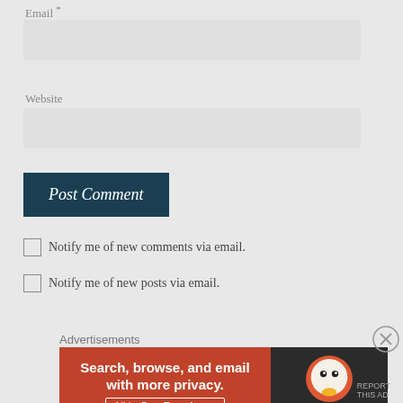Email *
Website
Post Comment
Notify me of new comments via email.
Notify me of new posts via email.
Advertisements
[Figure (screenshot): DuckDuckGo advertisement banner: orange left panel with text 'Search, browse, and email with more privacy. All in One Free App', dark right panel with DuckDuckGo logo and duck icon.]